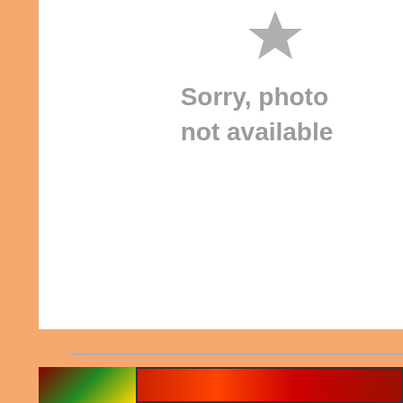[Figure (photo): Photo unavailable placeholder with star icon and text 'Sorry, photo not available' on white background with orange/peach border]
[Figure (photo): Partial images at bottom of page: left shows green and gold pattern, right shows red colored image with dark border]